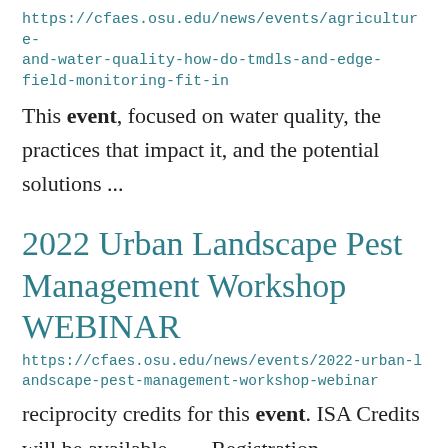https://cfaes.osu.edu/news/events/agriculture-and-water-quality-how-do-tmdls-and-edge-field-monitoring-fit-in
This event, focused on water quality, the practices that impact it, and the potential solutions ...
2022 Urban Landscape Pest Management Workshop WEBINAR
https://cfaes.osu.edu/news/events/2022-urban-landscape-pest-management-workshop-webinar
reciprocity credits for this event. ISA Credits will be available.       Registration Information ... event.   Commercial Pesticide License Requirements:   To keep a commercial pesticide applicator license...